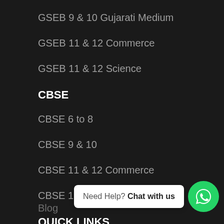GSEB 9 & 10 Gujarati Medium
GSEB 11 & 12 Commerce
GSEB 11 & 12 Science
CBSE
CBSE 6 to 8
CBSE 9 & 10
CBSE 11 & 12 Commerce
CBSE 11 & 12 Science
QUICK LINKS
About Us
Gallery
Career
Blog
Need Help? Chat with us